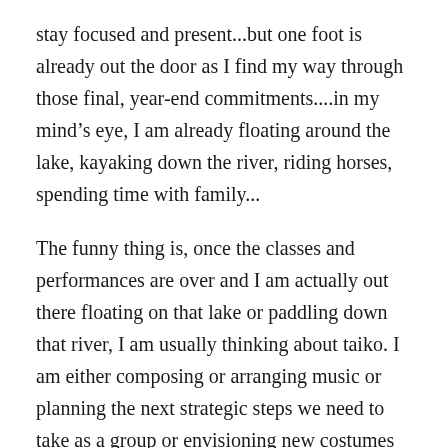stay focused and present...but one foot is already out the door as I find my way through those final, year-end commitments....in my mind's eye, I am already floating around the lake, kayaking down the river, riding horses, spending time with family...
The funny thing is, once the classes and performances are over and I am actually out there floating on that lake or paddling down that river, I am usually thinking about taiko. I am either composing or arranging music or planning the next strategic steps we need to take as a group or envisioning new costumes or thinking about next year's classes and performances or throwing drum sticks and a drum pad in my suitcase as I head out the door. Good grief. It's hard to shut it down.